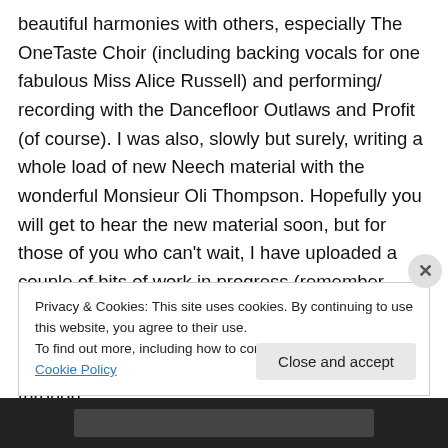beautiful harmonies with others, especially The OneTaste Choir (including backing vocals for one fabulous Miss Alice Russell) and performing/ recording with the Dancefloor Outlaws and Profit (of course). I was also, slowly but surely, writing a whole load of new Neech material with the wonderful Monsieur Oli Thompson. Hopefully you will get to hear the new material soon, but for those of you who can't wait, I have uploaded a couple of bits of work in progress (remember that!) onto Soundcloud.

The first is ManCloud which is currently midway through
Privacy & Cookies: This site uses cookies. By continuing to use this website, you agree to their use.
To find out more, including how to control cookies, see here: Cookie Policy
Close and accept